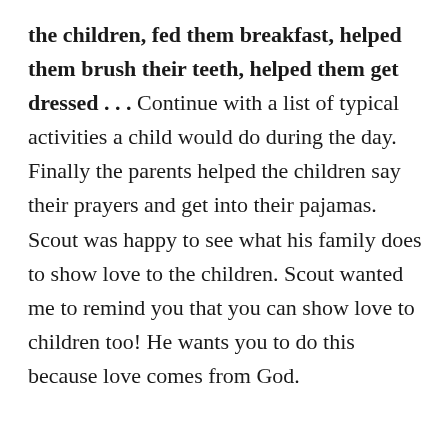the children, fed them breakfast, helped them brush their teeth, helped them get dressed . . . Continue with a list of typical activities a child would do during the day. Finally the parents helped the children say their prayers and get into their pajamas. Scout was happy to see what his family does to show love to the children. Scout wanted me to remind you that you can show love to children too! He wants you to do this because love comes from God.